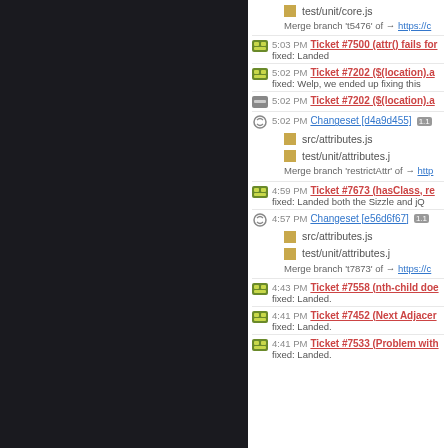[Figure (screenshot): Screenshot of a project timeline/activity feed from a bug tracker (Trac). Left half is dark panel, right half shows activity entries including tickets, changesets, and file references.]
test/unit/core.js
Merge branch 't5476' of [link] https://c...
5:03 PM Ticket #7500 (attr() fails for... fixed: Landed
5:02 PM Ticket #7202 ($(location).a... fixed: Welp, we ended up fixing this
5:02 PM Ticket #7202 ($(location).a...
5:02 PM Changeset [d4a9d455] 1.1... src/attributes.js test/unit/attributes.j... Merge branch 'restrictAttr' of [link] http...
4:59 PM Ticket #7673 (hasClass, re... fixed: Landed both the Sizzle and jQ...
4:57 PM Changeset [e56d6f67] 1.1... src/attributes.js test/unit/attributes.j... Merge branch 't7873' of [link] https://c...
4:43 PM Ticket #7558 (nth-child doe... fixed: Landed.
4:41 PM Ticket #7452 (Next Adjacer... fixed: Landed.
4:41 PM Ticket #7533 (Problem with... fixed: Landed.